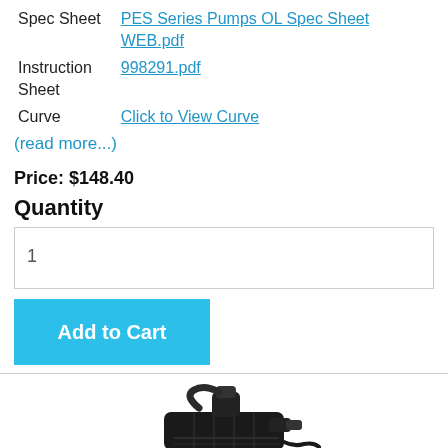| Spec Sheet | PES Series Pumps OL Spec Sheet WEB.pdf |
| Instruction Sheet | 998291.pdf |
| Curve | Click to View Curve |
(read more...)
Price: $148.40
Quantity
1
Add to Cart
[Figure (photo): Partial view of a black submersible pump at the bottom of the page]